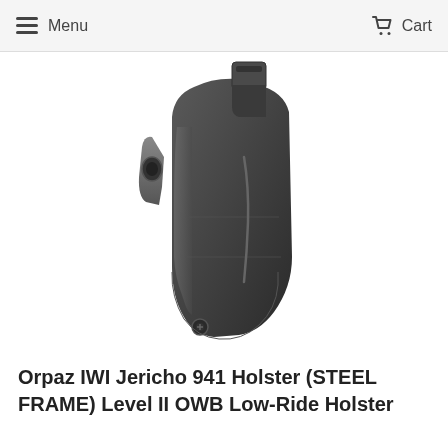Menu  Cart
[Figure (photo): Close-up product photo of a dark grey/black Orpaz IWI Jericho 941 OWB holster with retention lever and belt attachment, shown against white background]
[Figure (photo): Four small thumbnail images of the Orpaz holster from different angles: front left, right side with gun, front with gun, and right side disassembled]
Orpaz IWI Jericho 941 Holster (STEEL FRAME) Level II OWB Low-Ride Holster